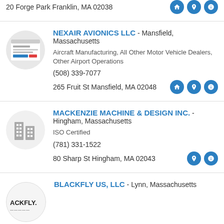20 Forge Park Franklin, MA 02038
NEXAIR AVIONICS LLC - Mansfield, Massachusetts
Aircraft Manufacturing, All Other Motor Vehicle Dealers, Other Airport Operations
(508) 339-7077
265 Fruit St Mansfield, MA 02048
MACKENZIE MACHINE & DESIGN INC. - Hingham, Massachusetts
ISO Certified
(781) 331-1522
80 Sharp St Hingham, MA 02043
BLACKFLY US, LLC - Lynn, Massachusetts